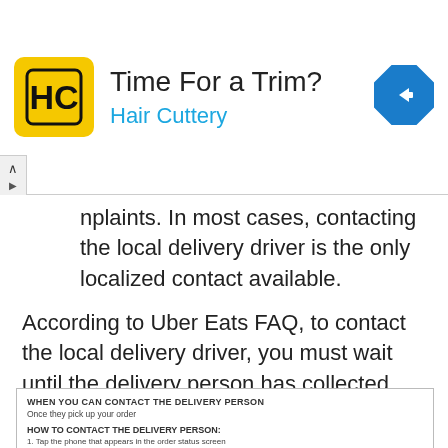[Figure (infographic): Hair Cuttery advertisement banner. Logo with HC initials in yellow square, headline 'Time For a Trim?', subheadline 'Hair Cuttery' in blue, and a blue diamond navigation icon on the right. Close/collapse button on the lower left.]
nplaints. In most cases, contacting the local delivery driver is the only localized contact available.
According to Uber Eats FAQ, to contact the local delivery driver, you must wait until the delivery person has collected your order. Then, inside the app, tap the phone that appears on the phone status screen. You then have the option to call or start an Uber Eats chat with the local delivery person. Be aware, however, that the delivery person may not respond if driving for safety reasons.
[Figure (screenshot): An information box with headers 'WHEN YOU CAN CONTACT THE DELIVERY PERSON' with subtext 'Once they pick up your order', and 'HOW TO CONTACT THE DELIVERY PERSON' with steps: 1. Tap the phone that appears in the order status screen. 2. Choose between calling or messaging them.]